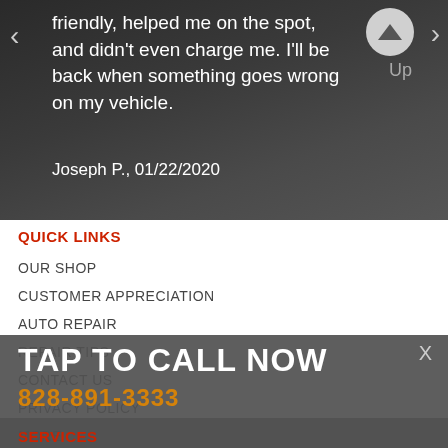[Figure (screenshot): Dark background review section with navigation arrows and up button]
friendly, helped me on the spot, and didn't even charge me. I'll be back when something goes wrong on my vehicle.
Joseph P., 01/22/2020
QUICK LINKS
OUR SHOP
CUSTOMER APPRECIATION
AUTO REPAIR
REPAIR TIPS
CONTACT US
PRIVACY POLICY
MORE
TAP TO CALL NOW
828-891-3333
SERVICES